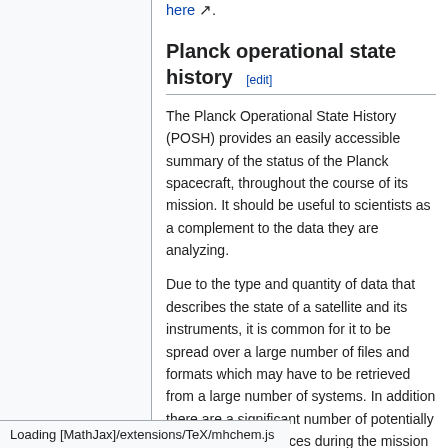here ↗.
Planck operational state history [edit]
The Planck Operational State History (POSH) provides an easily accessible summary of the status of the Planck spacecraft, throughout the course of its mission. It should be useful to scientists as a complement to the data they are analyzing.
Due to the type and quantity of data that describes the state of a satellite and its instruments, it is common for it to be spread over a large number of files and formats which may have to be retrieved from a large number of systems. In addition there are a significant number of potentially interesting occurrences during the mission which are not found in any
Loading [MathJax]/extensions/TeX/mhchem.js